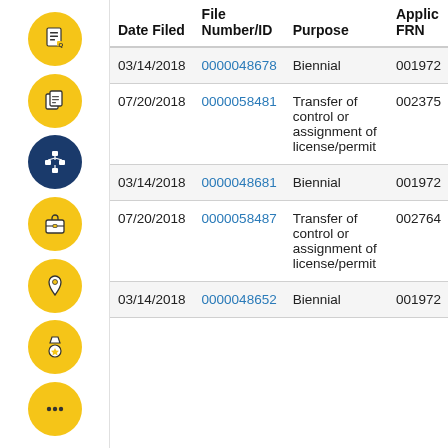[Figure (infographic): Vertical sidebar with 6 circular icon buttons: document icon (yellow), copy icon (yellow), network/hierarchy icon (dark blue, selected), briefcase icon (yellow), location pin icon (yellow), medal/award icon (yellow), and ellipsis icon (yellow).]
| Date Filed | File Number/ID | Purpose | Applic FRN |
| --- | --- | --- | --- |
| 03/14/2018 | 0000048678 | Biennial | 00197... |
| 07/20/2018 | 0000058481 | Transfer of control or assignment of license/permit | 00237... |
| 03/14/2018 | 0000048681 | Biennial | 00197... |
| 07/20/2018 | 0000058487 | Transfer of control or assignment of license/permit | 00276... |
| 03/14/2018 | 0000048652 | Biennial | 00197... |